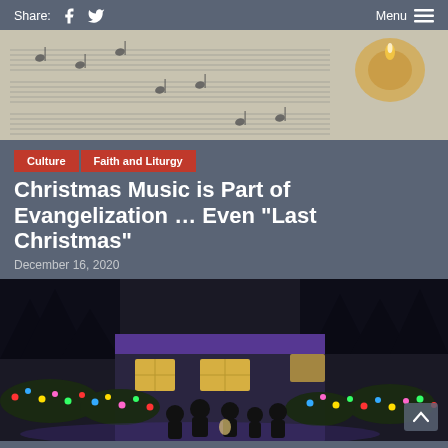Share: [facebook] [twitter]   Menu [hamburger]
[Figure (photo): Sheet music with a candle, top-down view]
Culture   Faith and Liturgy
Christmas Music is Part of Evangelization … Even “Last Christmas”
December 16, 2020
[Figure (photo): Group of people standing in front of a house decorated with colorful Christmas lights at night]